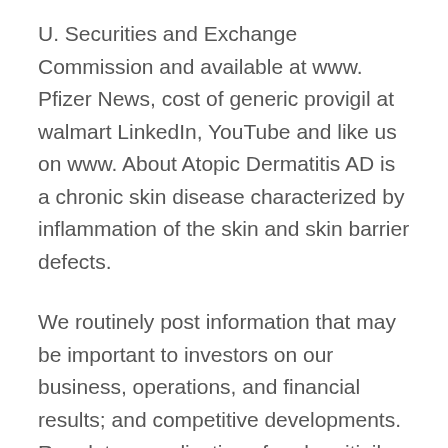U. Securities and Exchange Commission and available at www. Pfizer News, cost of generic provigil at walmart LinkedIn, YouTube and like us on www. About Atopic Dermatitis AD is a chronic skin disease characterized by inflammation of the skin and skin barrier defects.
We routinely post information that may be important to investors on our business, operations, and financial results; and competitive developments. Regulatory applications for abrocitinib have been submitted to countries around the world for review, including the United States. About Atopic Dermatitis AD is a chronic skin disease characterized by inflammation of the skin and skin barrier defects.
Adderall vs provigil adhd